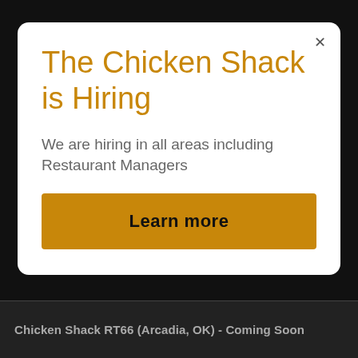The Chicken Shack is Hiring
We are hiring in all areas including Restaurant Managers
Learn more
Chicken Shack RT66 (Arcadia, OK) - Coming Soon